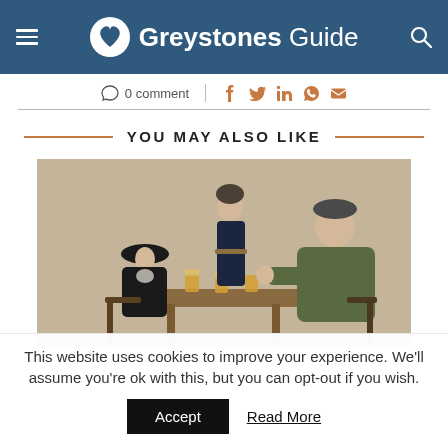Greystones Guide
0 comment
YOU MAY ALSO LIKE
[Figure (photo): Three men sitting or standing around a wooden table with glasses of beer, appearing to play cards. One man wears a black hat, one wears a dark military-style uniform with a fur hat, and one is a large heavyset man in a green coat.]
This website uses cookies to improve your experience. We'll assume you're ok with this, but you can opt-out if you wish.